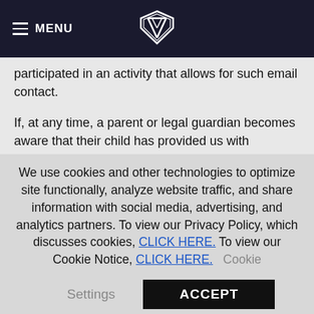MENU [logo]
participated in an activity that allows for such email contact.
If, at any time, a parent or legal guardian becomes aware that their child has provided us with Information without their consent or wishes to withdraw their consent to our use or maintenance of Information collected from their child, the parent or guardian should contact us at privacy@knighthawks.com and we will promptly remove such Information from our database(s).  Please note that we may request proof of identity and relationship to the child before doing so.
If you have any comments or questions on policies related to
We use cookies and other technologies to optimize site functionally, analyze website traffic, and share information with social media, advertising, and analytics partners. To view our Privacy Policy, which discusses cookies, CLICK HERE. To view our Cookie Notice, CLICK HERE.  Cookie
Settings
ACCEPT